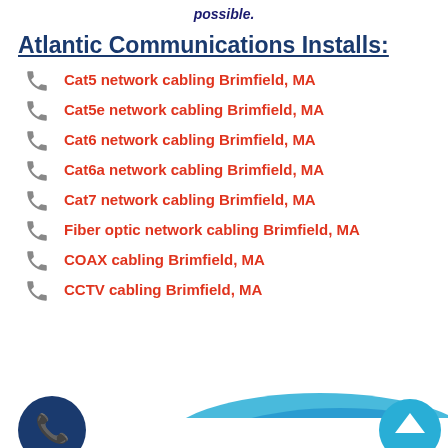possible.
Atlantic Communications Installs:
Cat5 network cabling Brimfield, MA
Cat5e network cabling Brimfield, MA
Cat6 network cabling Brimfield, MA
Cat6a network cabling Brimfield, MA
Cat7 network cabling Brimfield, MA
Fiber optic network cabling Brimfield, MA
COAX cabling Brimfield, MA
CCTV cabling Brimfield, MA
[Figure (illustration): Blue ethernet cable at bottom of page with phone call button and scroll-up button]